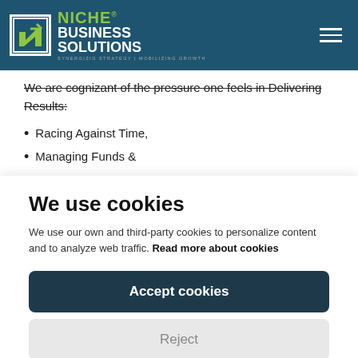NICHE® BUSINESS SOLUTIONS — SYNERGIZIG STRATEGY | MOBILIZING GROWTH
We are cognizant of the pressure one feels in Delivering Results:
Racing Against Time,
Managing Funds &
We use cookies
We use our own and third-party cookies to personalize content and to analyze web traffic. Read more about cookies
Accept cookies
Reject